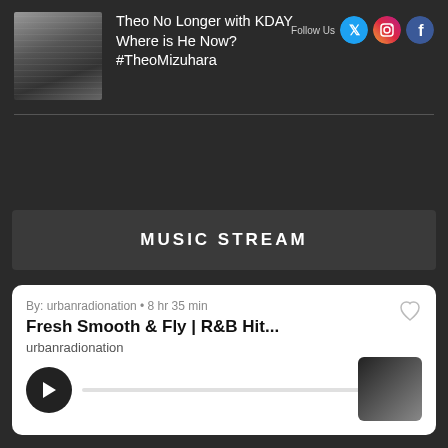[Figure (photo): Grayscale portrait photo of a young man]
Theo No Longer with KDAY Where is He Now? #TheoMizuhara
MUSIC STREAM
By: urbanradionation • 8 hr 35 min
Fresh Smooth & Fly | R&B Hit...
urbanradionation
[Figure (screenshot): Music player card with play button and album art thumbnail]